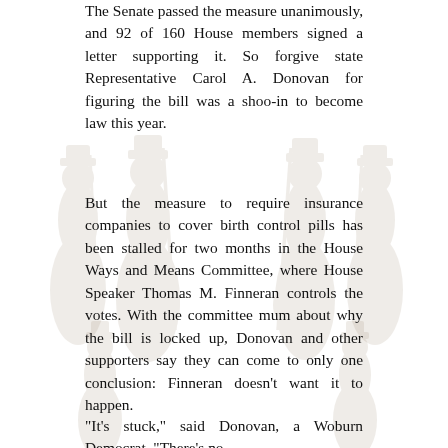The Senate passed the measure unanimously, and 92 of 160 House members signed a letter supporting it. So forgive state Representative Carol A. Donovan for figuring the bill was a shoo-in to become law this year.
But the measure to require insurance companies to cover birth control pills has been stalled for two months in the House Ways and Means Committee, where House Speaker Thomas M. Finneran controls the votes. With the committee mum about why the bill is locked up, Donovan and other supporters say they can come to only one conclusion: Finneran doesn't want it to happen.
"It's stuck," said Donovan, a Woburn Democrat. "There's no